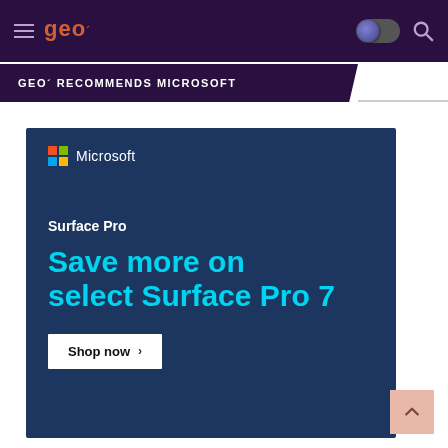geo — header navigation with hamburger menu, geo logo, dark mode toggle, search icon
GEO' RECOMMENDS MICROSOFT
[Figure (screenshot): Microsoft Surface Pro advertisement banner with dark blue background showing Microsoft logo, 'Surface Pro' label, 'Save more on select Surface Pro 7' headline in cyan, and a 'Shop now ›' button]